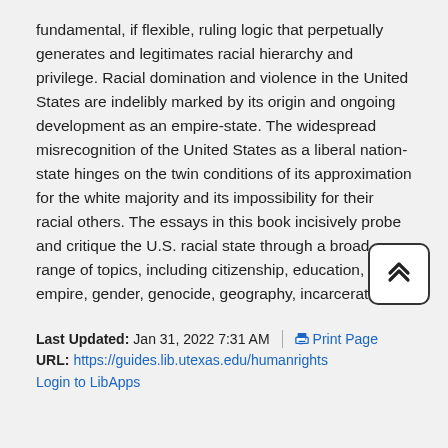fundamental, if flexible, ruling logic that perpetually generates and legitimates racial hierarchy and privilege. Racial domination and violence in the United States are indelibly marked by its origin and ongoing development as an empire-state. The widespread misrecognition of the United States as a liberal nation-state hinges on the twin conditions of its approximation for the white majority and its impossibility for their racial others. The essays in this book incisively probe and critique the U.S. racial state through a broad range of topics, including citizenship, education, empire, gender, genocide, geography, incarceration, Islamophobia, migration and border enforcement, violence, and welfare.
Last Updated: Jan 31, 2022 7:31 AM | URL: https://guides.lib.utexas.edu/humanrights | Print Page
Login to LibApps